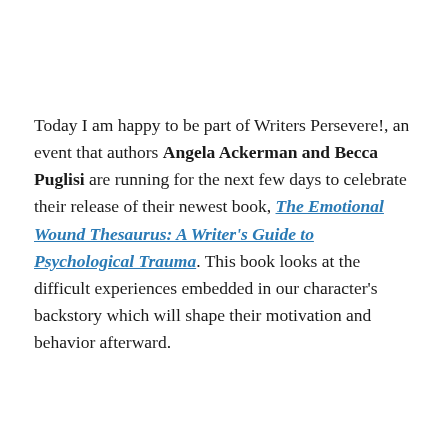Today I am happy to be part of Writers Persevere!, an event that authors Angela Ackerman and Becca Puglisi are running for the next few days to celebrate their release of their newest book, The Emotional Wound Thesaurus: A Writer's Guide to Psychological Trauma. This book looks at the difficult experiences embedded in our character's backstory which will shape their motivation and behavior afterward.